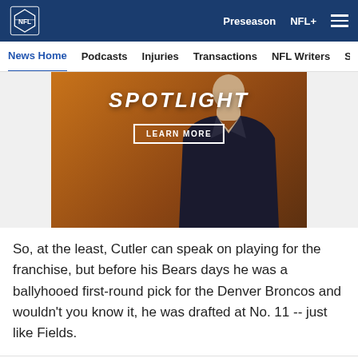NFL — Preseason | NFL+
News Home | Podcasts | Injuries | Transactions | NFL Writers | Se...
[Figure (photo): NFL Spotlight promotional banner showing a person in a dark suit against a brown/orange background, with bold text 'SPOTLIGHT' and a 'LEARN MORE' button.]
So, at the least, Cutler can speak on playing for the franchise, but before his Bears days he was a ballyhooed first-round pick for the Denver Broncos and wouldn't you know it, he was drafted at No. 11 -- just like Fields.
[Figure (infographic): Social sharing icons row: Facebook, Twitter, Email, Link/chain icon]